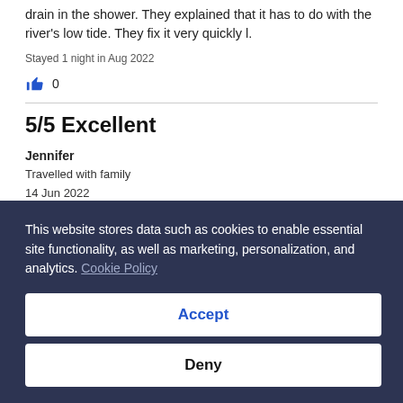drain in the shower. They explained that it has to do with the river's low tide. They fix it very quickly l.
Stayed 1 night in Aug 2022
0
5/5 Excellent
Jennifer
Travelled with family
14 Jun 2022
Liked: Cleanliness, staff & service, property conditions & facilities
This website stores data such as cookies to enable essential site functionality, as well as marketing, personalization, and analytics. Cookie Policy
Accept
Deny